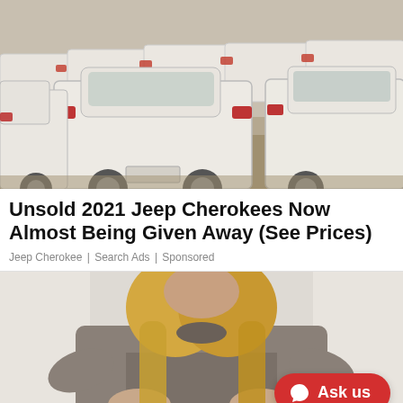[Figure (photo): Rows of white cars parked in a lot, viewed from behind at an angle, dusty outdoor setting]
Unsold 2021 Jeep Cherokees Now Almost Being Given Away (See Prices)
Jeep Cherokee | Search Ads | Sponsored
[Figure (photo): Woman in grey t-shirt holding her stomach/abdomen with both hands, blonde hair, white background]